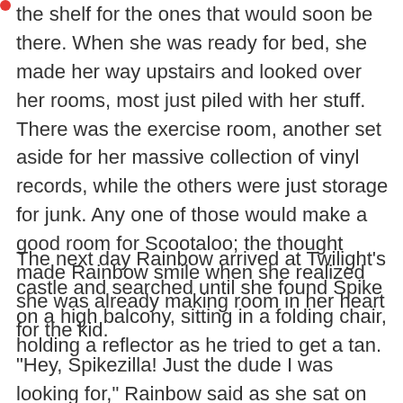the shelf for the ones that would soon be there. When she was ready for bed, she made her way upstairs and looked over her rooms, most just piled with her stuff. There was the exercise room, another set aside for her massive collection of vinyl records, while the others were just storage for junk. Any one of those would make a good room for Scootaloo; the thought made Rainbow smile when she realized she was already making room in her heart for the kid.
The next day Rainbow arrived at Twilight's castle and searched until she found Spike on a high balcony, sitting in a folding chair, holding a reflector as he tried to get a tan.
"Hey, Spikezilla! Just the dude I was looking for," Rainbow said as she sat on the railing opposite him,